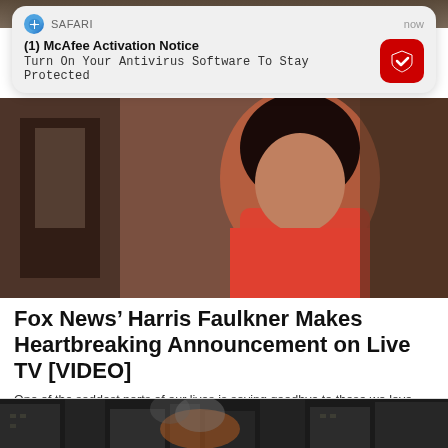[Figure (screenshot): Partial photo strip at top of page, dark background]
[Figure (screenshot): iOS Safari push notification banner: McAfee Activation Notice - Turn On Your Antivirus Software To Stay Protected]
[Figure (photo): News article photo of a woman in a red top, Fox News anchor Harris Faulkner]
Fox News’ Harris Faulkner Makes Heartbreaking Announcement on Live TV [VIDEO]
One of the saddest parts of our lives is saying goodbye to those we love. Harris Faulkner has been missing in action at Fox News ...
[Figure (photo): Bottom partial photo of a dark urban scene, possibly showing smoke or fire between buildings]